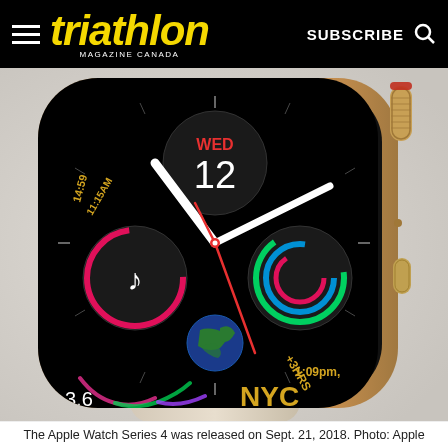triathlon MAGAZINE CANADA   SUBSCRIBE
[Figure (photo): Close-up photo of an Apple Watch Series 4 in gold stainless steel with a light sand sport band. The watch face displays a detailed analog Infograph complication face showing: WED 12, time 11:15AM, 14:59, 1:09pm +3HRS, NYC, 3.6, activity rings (pink, green, blue), a music note complication, an Earth globe complication, and a red second hand.]
The Apple Watch Series 4 was released on Sept. 21, 2018. Photo: Apple